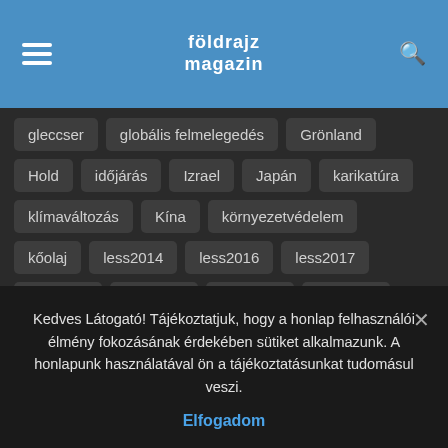földrajz magazin
gleccser
globális felmelegedés
Grönland
Hold
időjárás
Izrael
Japán
karikatúra
klímaváltozás
Kína
környezetvédelem
kőolaj
less2014
less2016
less2017
less2018
less2019
less2020
less2021
Magyarország
migráció
NASA
népesség
Oroszország
tudomány
turizmus
történelem
USA
vulkán
Kedves Látogató! Tájékoztatjuk, hogy a honlap felhasználói élmény fokozásának érdekében sütiket alkalmazunk. A honlapunk használatával ön a tájékoztatásunkat tudomásul veszi.
Elfogadom